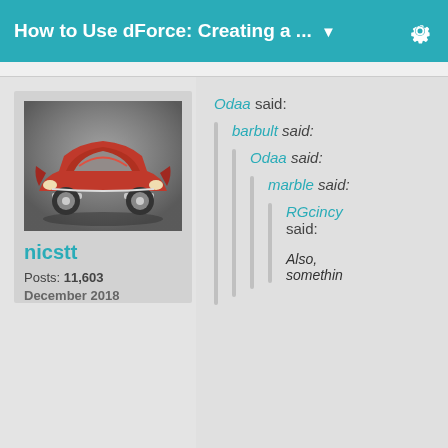How to Use dForce: Creating a ... ▼
[Figure (photo): 3D rendered red classic car (1950s style) on a grey background]
nicstt
Posts: 11,603
December 2018
Odaa said:
barbult said:
Odaa said:
marble said:
RGcincy said:
Also, somethin